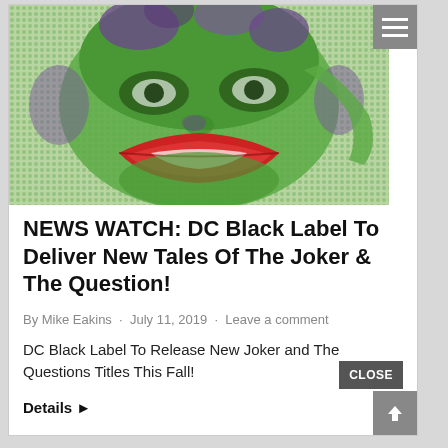[Figure (illustration): Pixelated/halftone style illustration of the Joker's face with green skin, purple accents, and red smiling mouth on a green dotted background]
NEWS WATCH: DC Black Label To Deliver New Tales Of The Joker & The Question!
By Mike Eakins · July 11, 2019 · Leave a comment
DC Black Label To Release New Joker and The Questions Titles This Fall!
Details ▸